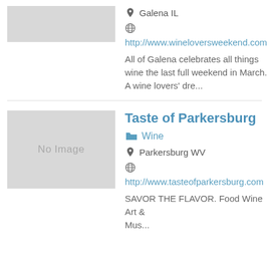[Figure (other): Gray placeholder image box (partial, top of page)]
Galena IL
[Figure (other): Globe/web icon]
http://www.wineloversweekend.com
All of Galena celebrates all things wine the last full weekend in March. A wine lovers' dre...
Taste of Parkersburg
Wine
Parkersburg WV
[Figure (other): Globe/web icon]
http://www.tasteofparkersburg.com
SAVOR THE FLAVOR. Food Wine Art & Mus...